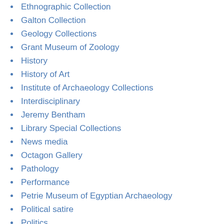Ethnographic Collection
Galton Collection
Geology Collections
Grant Museum of Zoology
History
History of Art
Institute of Archaeology Collections
Interdisciplinary
Jeremy Bentham
Library Special Collections
News media
Octagon Gallery
Pathology
Performance
Petrie Museum of Egyptian Archaeology
Political satire
Politics
Research
Science Collections